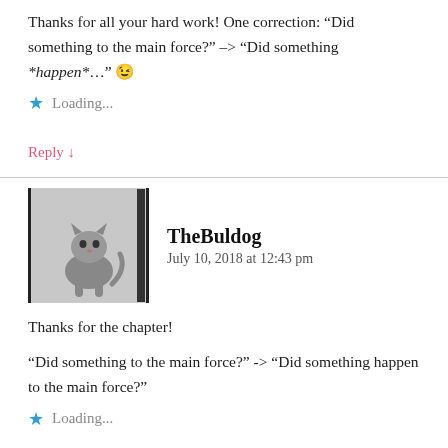Thanks for all your hard work! One correction: “Did something to the main force?” –> “Did something *happen*…” 😉
Loading...
Reply ↓
TheBuldog
July 10, 2018 at 12:43 pm
Thanks for the chapter!
“Did something to the main force?” -> “Did something happen to the main force?”
Loading...